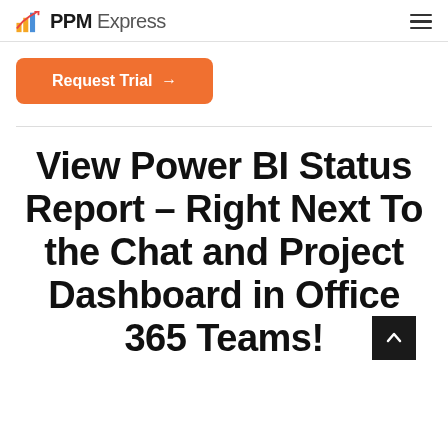PPM Express
Request Trial →
View Power BI Status Report – Right Next To the Chat and Project Dashboard in Office 365 Teams!